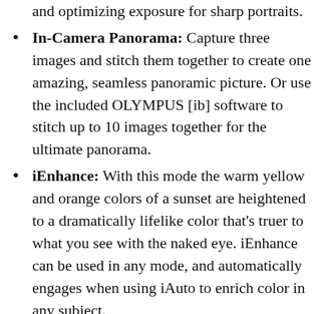and optimizing exposure for sharp portraits.
In-Camera Panorama: Capture three images and stitch them together to create one amazing, seamless panoramic picture. Or use the included OLYMPUS [ib] software to stitch up to 10 images together for the ultimate panorama.
iEnhance: With this mode the warm yellow and orange colors of a sunset are heightened to a dramatically lifelike color that's truer to what you see with the naked eye. iEnhance can be used in any mode, and automatically engages when using iAuto to enrich color in any subject.
Share: Just connect the camera to an HDTV with an optional HDMI cable and use your TV remote to control playback functions and navigate the camera's